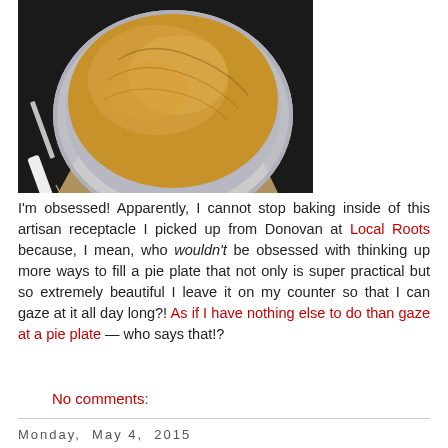[Figure (photo): A baked pie in a glass pie dish, with golden-brown flaky crust, placed on a burlap cloth with a white-handled knife, on a dark background.]
I'm obsessed! Apparently, I cannot stop baking inside of this artisan receptacle I picked up from Donovan at Local Roots because, I mean, who wouldn't be obsessed with thinking up more ways to fill a pie plate that not only is super practical but so extremely beautiful I leave it on my counter so that I can gaze at it all day long?! As if I have nothing else to do than gaze at a pie plate — who says that!?
No comments:
Monday, May 4, 2015